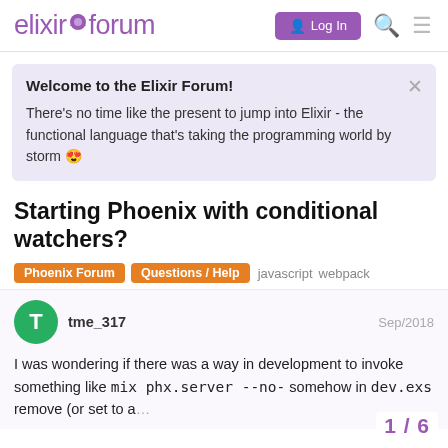elixir forum  Log In
Welcome to the Elixir Forum!
There's no time like the present to jump into Elixir - the functional language that's taking the programming world by storm 😍
Starting Phoenix with conditional watchers?
Phoenix Forum  Questions / Help  javascript  webpack
tme_317  Sep/2018
I was wondering if there was a way in development to invoke something like mix phx.server --no- somehow in dev.exs remove (or set to a...
1 / 6